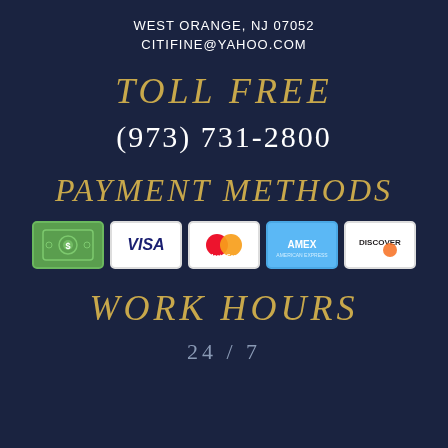WEST ORANGE, NJ 07052
CITIFINE@YAHOO.COM
TOLL FREE
(973) 731-2800
PAYMENT METHODS
[Figure (infographic): Row of 5 payment method icons: cash/money, Visa, MasterCard, American Express, Discover]
WORK HOURS
24/7